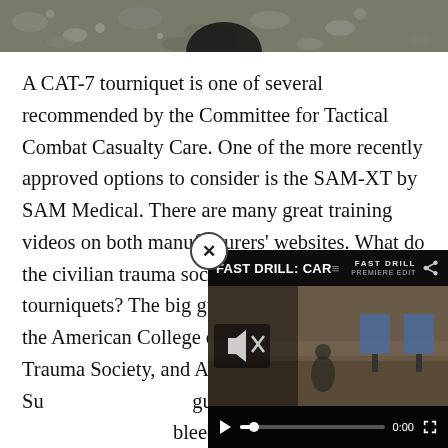[Figure (photo): Partial photo at top of page showing rocky/gravelly ground with a dark figure or object silhouetted against it]
A CAT-7 tourniquet is one of several recommended by the Committee for Tactical Combat Casualty Care. One of the more recently approved options to consider is the SAM-XT by SAM Medical. There are many great training videos on both manufacturers' websites. What do the civilian trauma societies say about tourniquets? The big guns of trauma in the U.S., the American College of Surgeons, Pediatric Trauma Society, and Advanced Trauma Life Su... guidelines recommending... bleeding control and the a... if direct pressure and pres...
[Figure (screenshot): Video overlay popup showing 'FAST DRILL: CAR' with a shooting range background, blue target boards, mute icon, play button, progress bar at 0:00, and fullscreen button. A close (X) button appears to the upper left of the popup.]